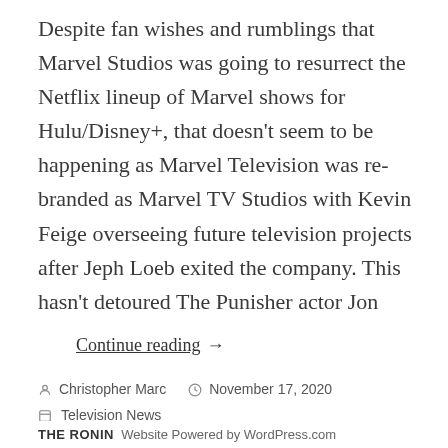Despite fan wishes and rumblings that Marvel Studios was going to resurrect the Netflix lineup of Marvel shows for Hulu/Disney+, that doesn't seem to be happening as Marvel Television was re-branded as Marvel TV Studios with Kevin Feige overseeing future television projects after Jeph Loeb exited the company. This hasn't detoured The Punisher actor Jon
Continue reading →
Christopher Marc   November 17, 2020
Television News
Charlie Cox, Daredevil, Disney+, Frank Castle, Hulu, Iron Fist, Jessica Jones, Jon Bernthal, Luke Cage, Marvel Studios, Marvel Television, Marvel TV Studios, Netflix, The Punisher
Leave a comment
THE RONIN  Website Powered by WordPress.com